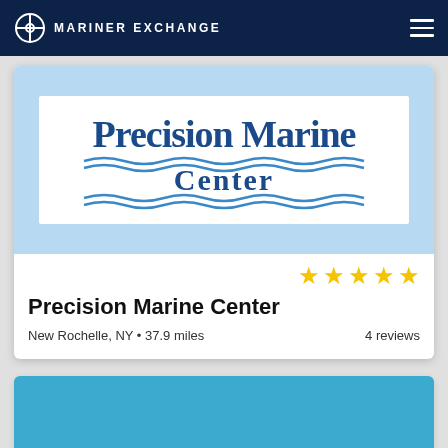MARINER EXCHANGE
[Figure (logo): Precision Marine Center logo — bold dark blue serif text 'Precision Marine' on top line, 'Center' on second line, with decorative wave lines beneath both lines, on a white rectangle inside a light blue banner background]
Precision Marine Center
New Rochelle, NY • 37.9 miles
4 reviews